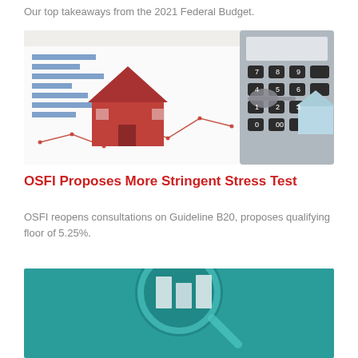Our top takeaways from the 2021 Federal Budget.
[Figure (photo): A red miniature house model and house-shaped key fob with keys placed on financial charts and graphs, next to a calculator, representing real estate and mortgage financing concepts.]
OSFI Proposes More Stringent Stress Test
OSFI reopens consultations on Guideline B20, proposes qualifying floor of 5.25%.
[Figure (photo): A magnifying glass over what appears to be building or architectural elements with a teal/blue-green background, partially visible at the bottom of the page.]